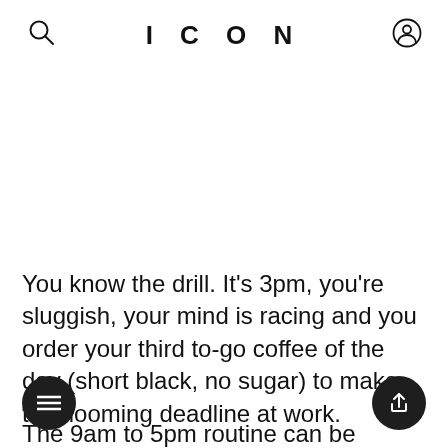ICON
[Figure (photo): Large image area placeholder (white/blank) below the header]
You know the drill. It's 3pm, you're sluggish, your mind is racing and you order your third to-go coffee of the day (short black, no sugar) to make that looming deadline at work.
The 9am to 5pm routine can be demanding